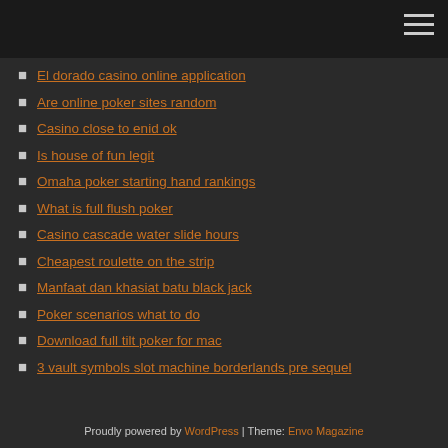El dorado casino online application
Are online poker sites random
Casino close to enid ok
Is house of fun legit
Omaha poker starting hand rankings
What is full flush poker
Casino cascade water slide hours
Cheapest roulette on the strip
Manfaat dan khasiat batu black jack
Poker scenarios what to do
Download full tilt poker for mac
3 vault symbols slot machine borderlands pre sequel
Proudly powered by WordPress | Theme: Envo Magazine